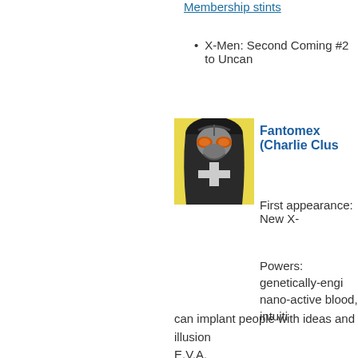Membership stints
X-Men: Second Coming #2 to Uncan[nny X-Men]
[Figure (illustration): Fantomex character illustration: a masked figure in black and white costume with orange goggles, against a yellow background]
Fantomex (Charlie Clus[ter-Kelly])
First appearance: New X-[Men]
Powers: genetically-engi[neered] nano-active blood, intuiti[ve] can implant people with ideas and illusion[s] E.V.A.
Membership stints
X-Men: Second Coming #2 to Uncan[ny X-Men [Uncanny X-Man] Man]
[Figure (illustration): Deadpool character illustration: a masked figure in white and grey costume with red eyes, against a yellow background]
Deadpool (Wade Wilson)
First appearance: New M[utants]
Powers: regeneration fac[tor]